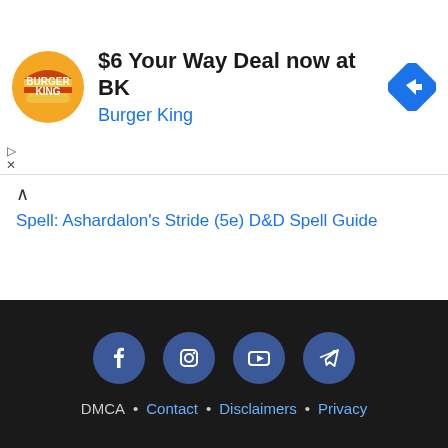[Figure (other): Burger King advertisement banner with BK logo, text '$6 Your Way Deal now at BK' and 'Burger King', and a blue navigation/directions diamond icon on the right]
Spell: Ashardalon's Stride (5e) D&D Spell Guide
DMCA · Contact · Disclaimers · Privacy